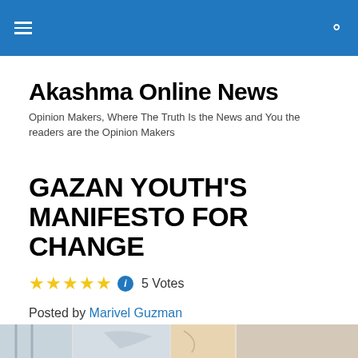Akashma Online News — navigation header bar
Akashma Online News
Opinion Makers, Where The Truth Is the News and You the readers are the Opinion Makers
GAZAN YOUTH'S MANIFESTO FOR CHANGE
5 Votes
Posted by Marivel Guzman
Original posted by Abu Yazan
GAZAN YOUTH'S MANIFESTO FOR CHANGE
[Figure (photo): Partial view of a photograph at the bottom of the page]